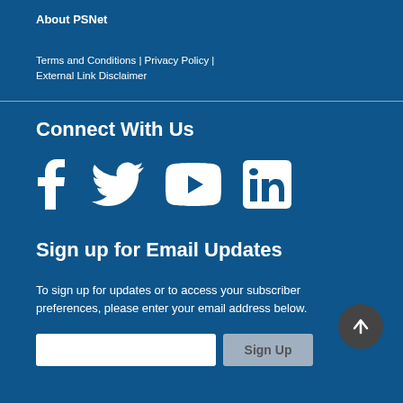About PSNet
Terms and Conditions | Privacy Policy | External Link Disclaimer
Connect With Us
[Figure (infographic): Social media icons: Facebook, Twitter, YouTube, LinkedIn]
Sign up for Email Updates
To sign up for updates or to access your subscriber preferences, please enter your email address below.